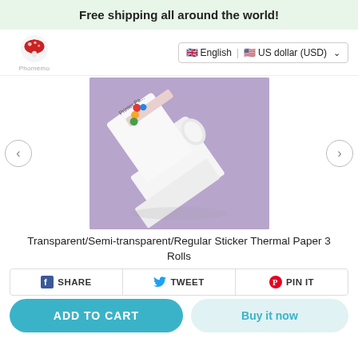Free shipping all around the world!
[Figure (logo): Phomemo mushroom logo with brand name]
English | US dollar (USD)
[Figure (photo): Transparent/Semi-transparent/Regular Sticker Thermal Paper rolls on purple background]
Transparent/Semi-transparent/Regular Sticker Thermal Paper 3 Rolls
SHARE  TWEET  PIN IT
ADD TO CART
Buy it now